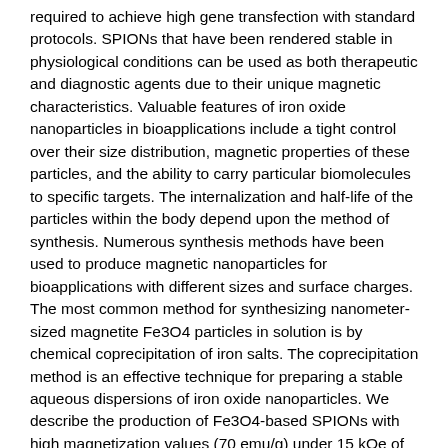required to achieve high gene transfection with standard protocols. SPIONs that have been rendered stable in physiological conditions can be used as both therapeutic and diagnostic agents due to their unique magnetic characteristics. Valuable features of iron oxide nanoparticles in bioapplications include a tight control over their size distribution, magnetic properties of these particles, and the ability to carry particular biomolecules to specific targets. The internalization and half-life of the particles within the body depend upon the method of synthesis. Numerous synthesis methods have been used to produce magnetic nanoparticles for bioapplications with different sizes and surface charges. The most common method for synthesizing nanometer-sized magnetite Fe3O4 particles in solution is by chemical coprecipitation of iron salts. The coprecipitation method is an effective technique for preparing a stable aqueous dispersions of iron oxide nanoparticles. We describe the production of Fe3O4-based SPIONs with high magnetization values (70 emu/g) under 15 kOe of the applied magnetic field at room temperature, with 0.01 emu/g remanence via a coprecipitation method in the presence of trisodium citrate as a stabilizer. Naked SPIONs often lack sufficient stability, hydrophilicity, and the capacity to be functionalized. In order to overcome these limitations, polycationic polymer was anchored on the surface of freshly prepared SPIONs by a direct electrostatic attraction between the negatively charged SPIONs